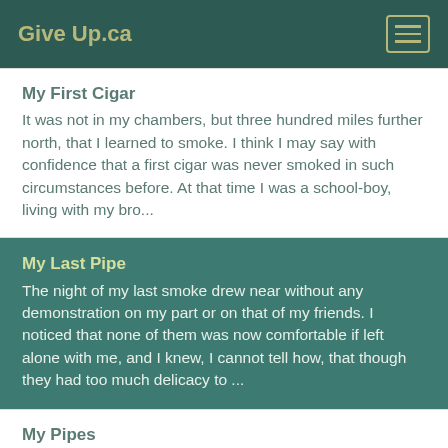Give Up.ca
My First Cigar
It was not in my chambers, but three hundred miles further north, that I learned to smoke. I think I may say with confidence that a first cigar was never smoked in such circumstances before. At that time I was a school-boy, living with my bro...
My Last Pipe
The night of my last smoke drew near without any demonstration on my part or on that of my friends. I noticed that none of them was now comfortable if left alone with me, and I knew, I cannot tell how, that though they had too much delicacy to ...
My Pipes
In a select company of scoffers my brier was known as the Mermaid. The mouth-piece was a cigarette-holder